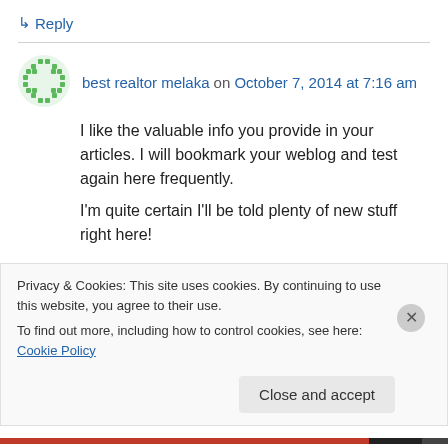↳ Reply
best realtor melaka on October 7, 2014 at 7:16 am
I like the valuable info you provide in your articles. I will bookmark your weblog and test again here frequently.

I'm quite certain I'll be told plenty of new stuff right here!
Privacy & Cookies: This site uses cookies. By continuing to use this website, you agree to their use. To find out more, including how to control cookies, see here: Cookie Policy